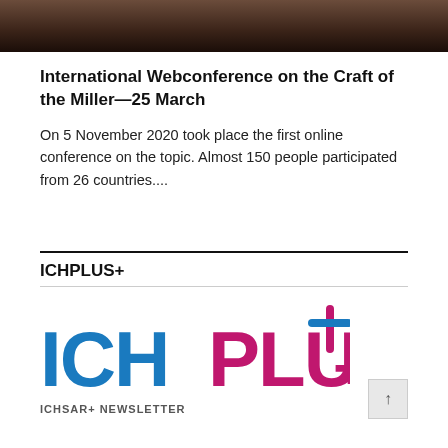[Figure (photo): Cropped photo strip showing a blurred dark background, likely a portrait or close-up image.]
International Webconference on the Craft of the Miller—25 March
On 5 November 2020 took place the first online conference on the topic. Almost 150 people participated from 26 countries....
ICHPLUS+
[Figure (logo): ICHPLUS+ logo with ICH in bold blue, PLUS in bold magenta/pink, and a + symbol in blue and pink overlapping at top right. Below reads ICHSAR+ NEWSLETTER in small text.]